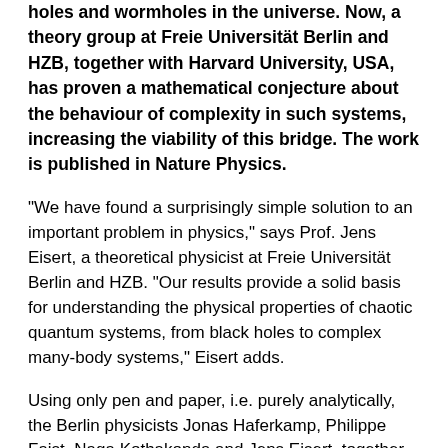holes and wormholes in the universe. Now, a theory group at Freie Universität Berlin and HZB, together with Harvard University, USA, has proven a mathematical conjecture about the behaviour of complexity in such systems, increasing the viability of this bridge. The work is published in Nature Physics.
"We have found a surprisingly simple solution to an important problem in physics," says Prof. Jens Eisert, a theoretical physicist at Freie Universität Berlin and HZB. "Our results provide a solid basis for understanding the physical properties of chaotic quantum systems, from black holes to complex many-body systems," Eisert adds.
Using only pen and paper, i.e. purely analytically, the Berlin physicists Jonas Haferkamp, Philippe Faist, Naga Kothakonda and Jens Eisert, together with Nicole Yunger Halpern (Harvard, now Maryland), have succeeded in proving a conjecture that has major implications for complex quantum many-body systems. "This plays a role, for example, when you want to describe the volume of black holes or even